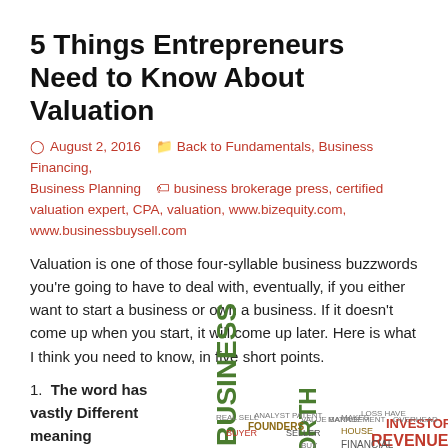5 Things Entrepreneurs Need to Know About Valuation
August 2, 2016   Back to Fundamentals, Business Financing, Business Planning   business brokerage press, certified valuation expert, CPA, valuation, www.bizequity.com, www.businessbuysell.com
Valuation is one of those four-syllable business buzzwords you're going to have to deal with, eventually, if you either want to start a business or own a business. If it doesn't come up when you start, it will come up later. Here is what I think you need to know, in five short points.
1. The word has vastly Different meaning
[Figure (infographic): Word cloud featuring business valuation related terms including VALUATION (large, at bottom), BUSINESS (vertical, large), MILLION, SALES, WORTH, GROWTH, REVENUES, THINGS, INVESTORS, FOUNDERS, FINANCIAL, HOUSE, DREAM, BUSINESSES, COMPANY, HISTORY among many other smaller words in various colors including green, brown, red, and dark gray.]